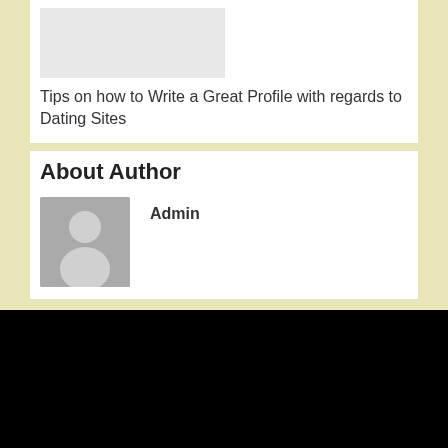[Figure (photo): Gray placeholder image rectangle at top of card]
Tips on how to Write a Great Profile with regards to Dating Sites
About Author
[Figure (photo): Gray avatar placeholder showing silhouette of a person]
Admin